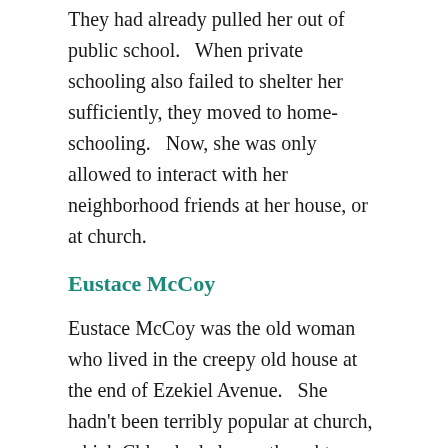They had already pulled her out of public school.   When private schooling also failed to shelter her sufficiently, they moved to home-schooling.   Now, she was only allowed to interact with her neighborhood friends at her house, or at church.
Eustace McCoy
Eustace McCoy was the old woman who lived in the creepy old house at the end of Ezekiel Avenue.   She hadn't been terribly popular at church, which Chloe had always thought was interesting since she never came.   Still, the 'rents had always talked